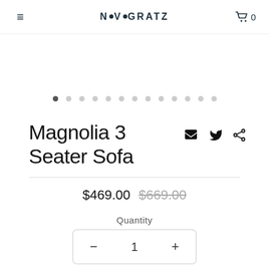NOVOGRATZ
[Figure (other): Image carousel dot indicators, 13 dots with first dot active]
Magnolia 3 Seater Sofa
$469.00 $669.00
Quantity
- 1 +